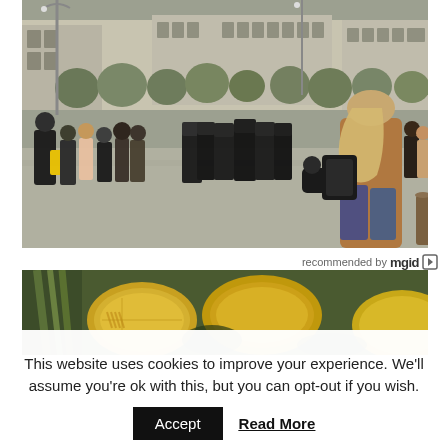[Figure (photo): Outdoor crowd scene in a European city plaza with police in riot gear confronting protesters. Buildings and trees visible in background. A woman with long blonde hair and brown jacket stands in foreground with her back to camera.]
recommended by mgid
[Figure (photo): Close-up of gold coins, partially visible at bottom of page.]
This website uses cookies to improve your experience. We'll assume you're ok with this, but you can opt-out if you wish.
Accept
Read More